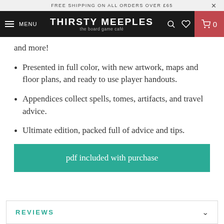FREE SHIPPING ON ALL ORDERS OVER £65
THIRSTY MEEPLES the board game café MENU
and more!
Presented in full color, with new artwork, maps and floor plans, and ready to use player handouts.
Appendices collect spells, tomes, artifacts, and travel advice.
Ultimate edition, packed full of advice and tips.
pdf included with purchase
REVIEWS